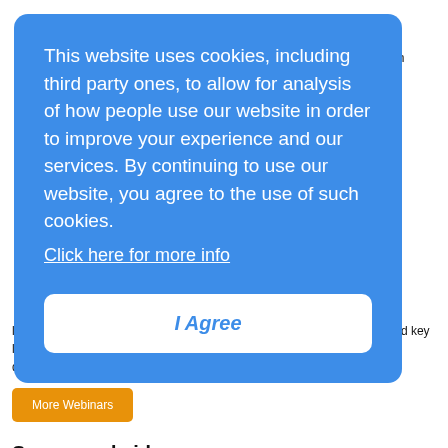o bitious or green for gy. o make ut nd no h the try
This website uses cookies, including third party ones, to allow for analysis of how people use our website in order to improve your experience and our services. By continuing to use our website, you agree to the use of such cookies.
Click here for more info
I Agree
leaders and senior industrial analysts to provide insight, best practices and key learnings on how to achieve zero-carbon targets and practice green development in Africa.
More Webinars
Sponsored video
[Figure (other): Decorative zigzag pattern strip in brown, black, and white]